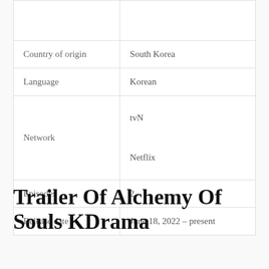|  |  |
| --- | --- |
|  |  |
| Country of origin | South Korea |
| Language | Korean |
| Network | tvN

Netflix |
| Episodes | 2 |
| Release date | June 18, 2022 – present |
Trailer Of Alchemy Of Souls KDrama